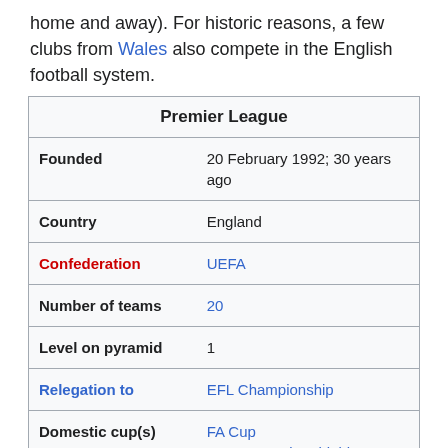home and away). For historic reasons, a few clubs from Wales also compete in the English football system.
| Premier League |  |
| --- | --- |
| Founded | 20 February 1992; 30 years ago |
| Country | England |
| Confederation | UEFA |
| Number of teams | 20 |
| Level on pyramid | 1 |
| Relegation to | EFL Championship |
| Domestic cup(s) | FA Cup
FA Community Shield |
| League cup(s) | EFL Cup |